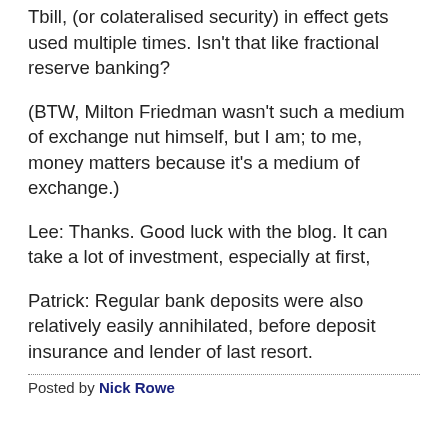Tbill, (or colateralised security) in effect gets used multiple times. Isn't that like fractional reserve banking?
(BTW, Milton Friedman wasn't such a medium of exchange nut himself, but I am; to me, money matters because it's a medium of exchange.)
Lee: Thanks. Good luck with the blog. It can take a lot of investment, especially at first,
Patrick: Regular bank deposits were also relatively easily annihilated, before deposit insurance and lender of last resort.
Posted by Nick Rowe...